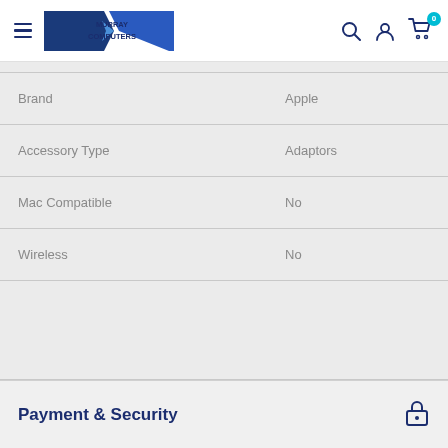Murray Computers
| Property | Value |
| --- | --- |
| Brand | Apple |
| Accessory Type | Adaptors |
| Mac Compatible | No |
| Wireless | No |
Payment & Security